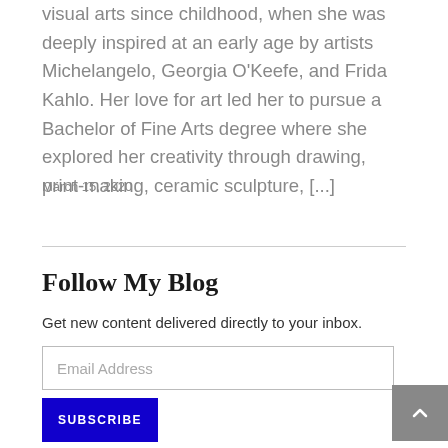visual arts since childhood, when she was deeply inspired at an early age by artists Michelangelo, Georgia O'Keefe, and Frida Kahlo. Her love for art led her to pursue a Bachelor of Fine Arts degree where she explored her creativity through drawing, print-making, ceramic sculpture, [...]
March 15, 2020
Follow My Blog
Get new content delivered directly to your inbox.